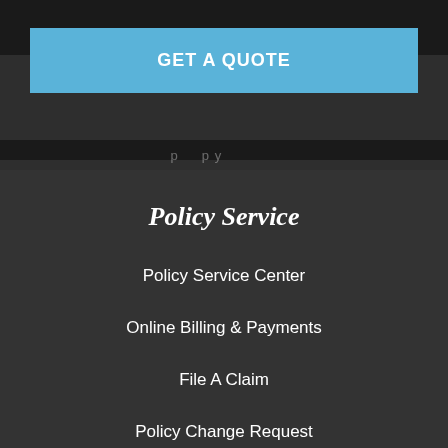GET A QUOTE
Policy Service
Policy Service Center
Online Billing & Payments
File A Claim
Policy Change Request